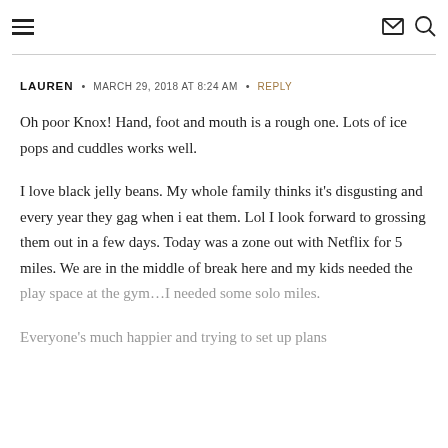[hamburger menu icon] [mail icon] [search icon]
LAUREN · MARCH 29, 2018 AT 8:24 AM · REPLY
Oh poor Knox! Hand, foot and mouth is a rough one. Lots of ice pops and cuddles works well.

I love black jelly beans. My whole family thinks it's disgusting and every year they gag when i eat them. Lol I look forward to grossing them out in a few days. Today was a zone out with Netflix for 5 miles. We are in the middle of break here and my kids needed the play space at the gym…I needed some solo miles.

Everyone's much happier and trying to set up plans